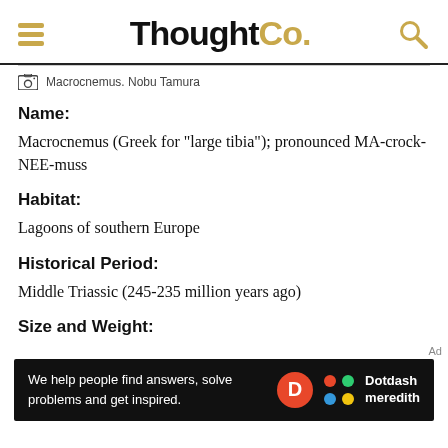ThoughtCo.
Macrocnemus. Nobu Tamura
Name:
Macrocnemus (Greek for "large tibia"); pronounced MA-crock-NEE-muss
Habitat:
Lagoons of southern Europe
Historical Period:
Middle Triassic (245-235 million years ago)
Size and Weight:
[Figure (other): Advertisement banner: 'We help people find answers, solve problems and get inspired.' with Dotdash Meredith logo]